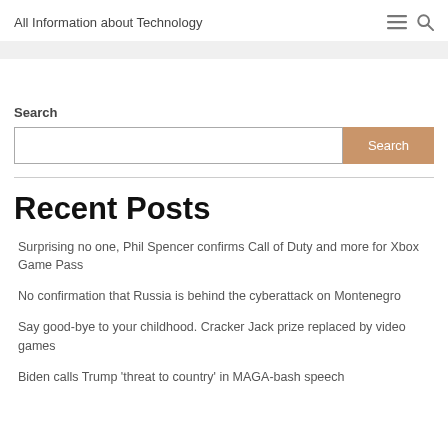All Information about Technology
Search
Recent Posts
Surprising no one, Phil Spencer confirms Call of Duty and more for Xbox Game Pass
No confirmation that Russia is behind the cyberattack on Montenegro
Say good-bye to your childhood. Cracker Jack prize replaced by video games
Biden calls Trump 'threat to country' in MAGA-bash speech